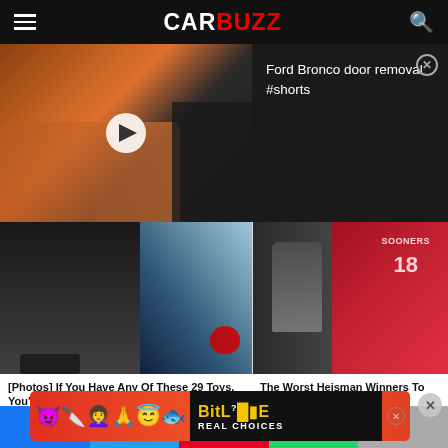CarBuzz
[Figure (screenshot): Ford Bronco orange SUV video thumbnail with play button]
Ford Bronco door removal #shorts
[Figure (photo): Beanie Baby toys on carpet, black snake and Ty tag visible]
[Figure (photo): Football trophy statue next to person wearing Sooners #18 jersey]
[Photos] If You Have Any Of These 29 Toys, You're Rich
Money Pop
The Worst Heisman Winners To Ever Play In The NFL
The Sports Drop
[Figure (screenshot): BitLife advertisement banner with emoji characters and REAL CHOICES text]
Social share buttons: Facebook, Twitter, Pinterest, WhatsApp, Email